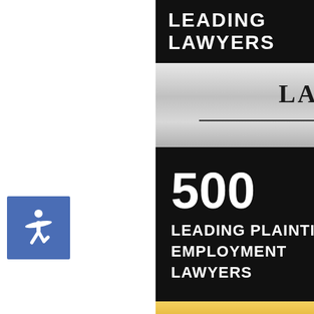[Figure (logo): Lawdragon 2021 - 500 Leading Plaintiff Employment Lawyers badge. Top black band with 'LEADING LAWYERS' text in white. Silver metallic band with 'LAWDRAGON' and '2021'. Black band with '500 LEADING PLAINTIFF EMPLOYMENT LAWYERS'. Gold band with 'LAWDRAGON' and '2020'. Bottom black band with '500'. Blue accessibility icon on left side.]